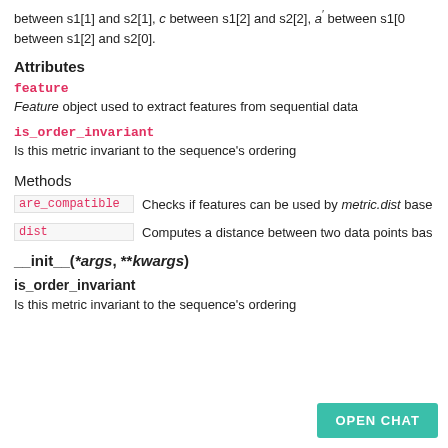between s1[1] and s2[1], c between s1[2] and s2[2], a′ between s1[0] between s1[2] and s2[0].
Attributes
feature
Feature object used to extract features from sequential data
is_order_invariant
Is this metric invariant to the sequence's ordering
Methods
are_compatible  Checks if features can be used by metric.dist base
dist  Computes a distance between two data points bas
__init__(*args, **kwargs)
is_order_invariant
Is this metric invariant to the sequence's ordering